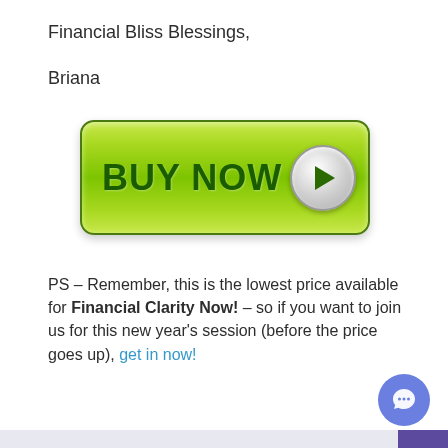Financial Bliss Blessings,
Briana
[Figure (other): Green glossy 'BUY NOW' button with play button icon on the right side]
PS – Remember, this is the lowest price available for Financial Clarity Now! – so if you want to join us for this new year's session (before the price goes up), get in now!